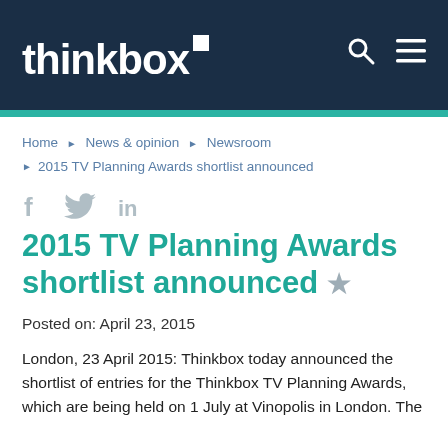thinkbox
Home ▶ News & opinion ▶ Newsroom ▶ 2015 TV Planning Awards shortlist announced
[Figure (other): Social media share icons: Facebook (f), Twitter (bird), LinkedIn (in)]
2015 TV Planning Awards shortlist announced ★
Posted on: April 23, 2015
London, 23 April 2015: Thinkbox today announced the shortlist of entries for the Thinkbox TV Planning Awards, which are being held on 1 July at Vinopolis in London. The